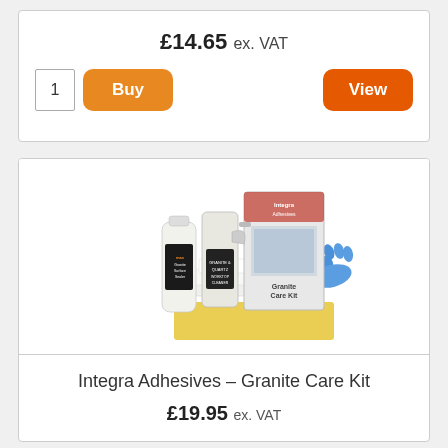£14.65 ex. VAT
1 | Buy | View
[Figure (photo): Integra Adhesives Granite Care Kit product photo showing two bottles (granite surface sealer and granite & quartz worktop cleaner spray), a boxed kit, blue rubber gloves, white cloths, and a yellow cloth.]
Integra Adhesives – Granite Care Kit
£19.95 ex. VAT